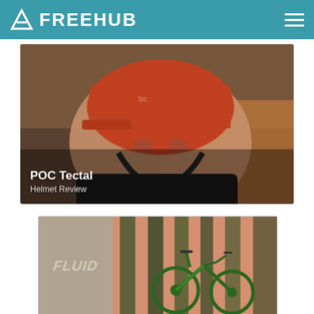FREEHUB
[Figure (photo): Close-up photo of a man wearing an orange/rust-colored POC Tectal mountain bike helmet, with forest background and autumn leaves. White text overlay reads 'POC Tectal' and 'Helmet Review'.]
POC Tectal
Helmet Review
[Figure (photo): Advertisement or article card showing a tan/khaki left panel with the word FLUID in italic bold text, and a right panel showing a green mountain bike leaning against mossy pillars with a salmon/peach background.]